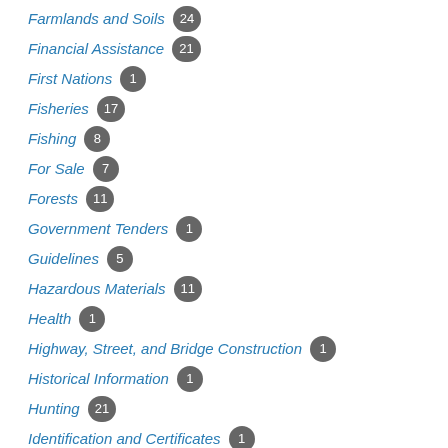Farmlands and Soils 24
Financial Assistance 21
First Nations 1
Fisheries 17
Fishing 8
For Sale 7
Forests 11
Government Tenders 1
Guidelines 5
Hazardous Materials 11
Health 1
Highway, Street, and Bridge Construction 1
Historical Information 1
Hunting 21
Identification and Certificates 1
Images 1
Inspections 63
Laboratory Tests 6
Land 10